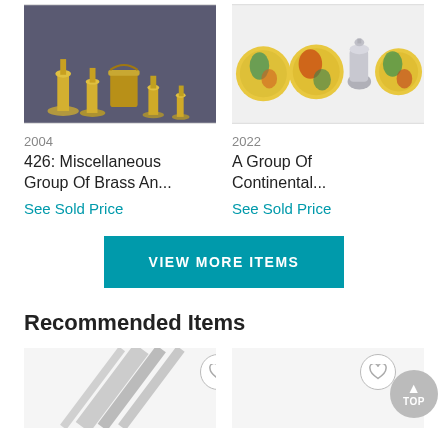[Figure (photo): Group of brass candlesticks and vessels on dark background]
[Figure (photo): Group of decorative Continental plates/coasters and a silver urn on white background]
2004
2022
426: Miscellaneous Group Of Brass An...
A Group Of Continental...
See Sold Price
See Sold Price
VIEW MORE ITEMS
Recommended Items
[Figure (photo): Partial view of auction item on left side, with heart/favorite button overlay]
[Figure (photo): Partial view of auction item on right side, with heart/favorite button overlay]